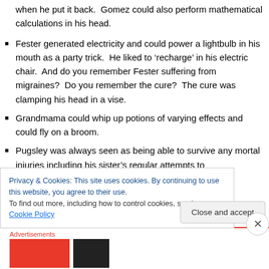when he put it back.  Gomez could also perform mathematical calculations in his head.
Fester generated electricity and could power a lightbulb in his mouth as a party trick.  He liked to 'recharge' in his electric chair.  And do you remember Fester suffering from migraines?  Do you remember the cure?  The cure was clamping his head in a vise.
Grandmama could whip up potions of varying effects and could fly on a broom.
Pugsley was always seen as being able to survive any mortal injuries including his sister's regular attempts to
Privacy & Cookies: This site uses cookies. By continuing to use this website, you agree to their use.
To find out more, including how to control cookies, see here: Cookie Policy
Close and accept
Advertisements